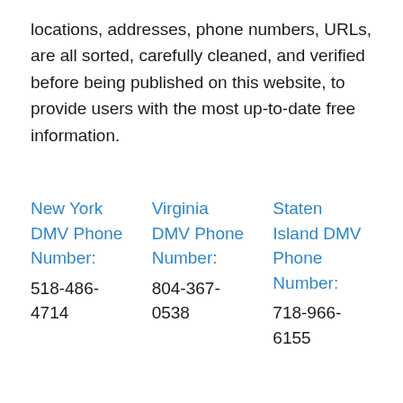locations, addresses, phone numbers, URLs, are all sorted, carefully cleaned, and verified before being published on this website, to provide users with the most up-to-date free information.
New York DMV Phone Number: 518-486-4714
Virginia DMV Phone Number: 804-367-0538
Staten Island DMV Phone Number: 718-966-6155